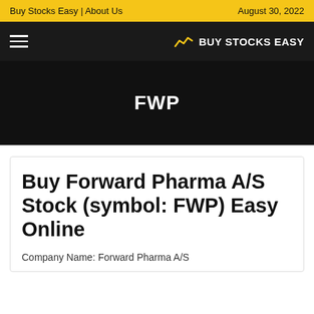Buy Stocks Easy | About Us    August 30, 2022
[Figure (logo): Buy Stocks Easy website navigation bar with hamburger menu icon on left and BUY STOCKS EASY logo with chart icon on right, on dark background]
FWP
Buy Forward Pharma A/S Stock (symbol: FWP) Easy Online
Company Name: Forward Pharma A/S